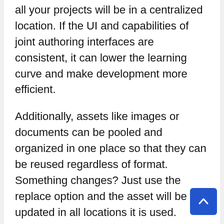all your projects will be in a centralized location. If the UI and capabilities of joint authoring interfaces are consistent, it can lower the learning curve and make development more efficient.
Additionally, assets like images or documents can be pooled and organized in one place so that they can be reused regardless of format. Something changes? Just use the replace option and the asset will be updated in all locations it is used.
Certain types of authoring can also